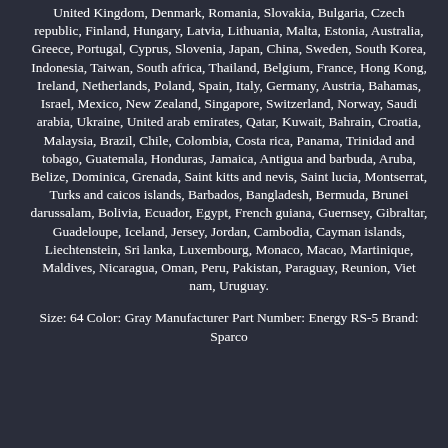United Kingdom, Denmark, Romania, Slovakia, Bulgaria, Czech republic, Finland, Hungary, Latvia, Lithuania, Malta, Estonia, Australia, Greece, Portugal, Cyprus, Slovenia, Japan, China, Sweden, South Korea, Indonesia, Taiwan, South africa, Thailand, Belgium, France, Hong Kong, Ireland, Netherlands, Poland, Spain, Italy, Germany, Austria, Bahamas, Israel, Mexico, New Zealand, Singapore, Switzerland, Norway, Saudi arabia, Ukraine, United arab emirates, Qatar, Kuwait, Bahrain, Croatia, Malaysia, Brazil, Chile, Colombia, Costa rica, Panama, Trinidad and tobago, Guatemala, Honduras, Jamaica, Antigua and barbuda, Aruba, Belize, Dominica, Grenada, Saint kitts and nevis, Saint lucia, Montserrat, Turks and caicos islands, Barbados, Bangladesh, Bermuda, Brunei darussalam, Bolivia, Ecuador, Egypt, French guiana, Guernsey, Gibraltar, Guadeloupe, Iceland, Jersey, Jordan, Cambodia, Cayman islands, Liechtenstein, Sri lanka, Luxembourg, Monaco, Macao, Martinique, Maldives, Nicaragua, Oman, Peru, Pakistan, Paraguay, Reunion, Viet nam, Uruguay.
Size: 64 Color: Gray Manufacturer Part Number: Energy RS-5 Brand: Sparco